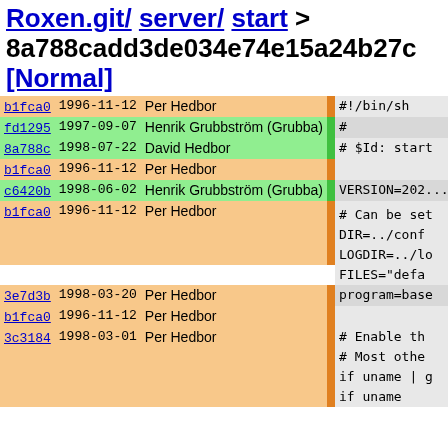Roxen.git/ server/ start > 8a788cadd3de034e74e15a24b27c [Normal]
| hash | date | author | code |
| --- | --- | --- | --- |
| b1fca0 | 1996-11-12 | Per Hedbor | #!/bin/sh |
| fd1295 | 1997-09-07 | Henrik Grubbström (Grubba) | # |
| 8a788c | 1998-07-22 | David Hedbor | # $Id: start |
| b1fca0 | 1996-11-12 | Per Hedbor |  |
| c6420b | 1998-06-02 | Henrik Grubbström (Grubba) | VERSION=202... |
| b1fca0 | 1996-11-12 | Per Hedbor | # Can be set
DIR=../conf
LOGDIR=../lo
FILES="defa |
| 3e7d3b | 1998-03-20 | Per Hedbor | program=base |
| b1fca0 | 1996-11-12 | Per Hedbor |  |
| 3c3184 | 1998-03-01 | Per Hedbor | # Enable th
# Most othe
if uname | g
if uname |